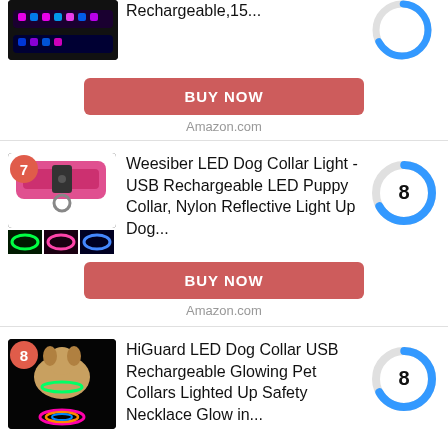Rechargeable,15...
BUY NOW
Amazon.com
[Figure (photo): Pink LED dog collar with colored light thumbnails showing green, pink, and blue modes, with badge number 7]
Weesiber LED Dog Collar Light - USB Rechargeable LED Puppy Collar, Nylon Reflective Light Up Dog...
[Figure (donut-chart): Score gauge showing 8 out of 10, blue arc on grey circle]
BUY NOW
Amazon.com
[Figure (photo): Dog wearing glowing green LED collar on black background, with colorful necklace rings below, badge number 8]
HiGuard LED Dog Collar USB Rechargeable Glowing Pet Collars Lighted Up Safety Necklace Glow in...
[Figure (donut-chart): Score gauge showing 8 out of 10, blue arc on grey circle]